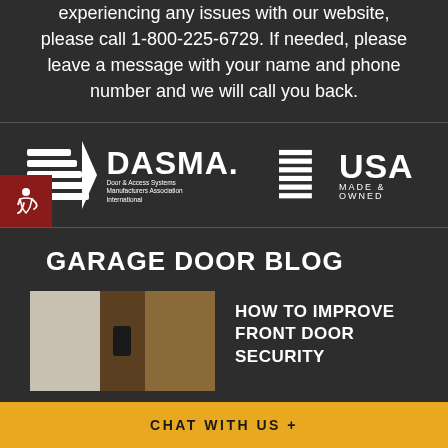experiencing any issues with our website, please call 1-800-225-6729. If needed, please leave a message with your name and phone number and we will call you back.
[Figure (logo): DASMA (Door & Access Systems Manufacturers Association International) logo and USA Made & Owned logo on dark background, with accessibility icon on left]
GARAGE DOOR BLOG
[Figure (photo): Photo of a front door with a keypad/lock, showing garage door and entryway]
HOW TO IMPROVE FRONT DOOR SECURITY
CHAT WITH US +